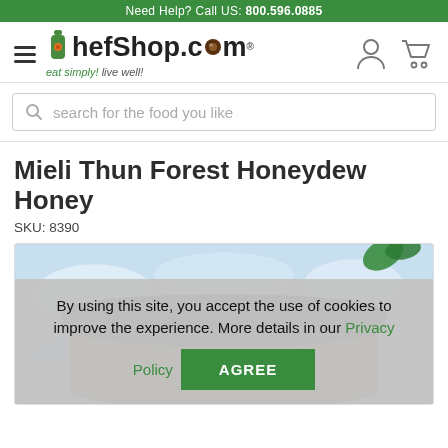Need Help? Call US: 800.596.0885
[Figure (logo): ChefShop.com logo with hamburger menu icon, user icon, and cart icon. Tagline: eat simply! live well!]
search for the food you like
Mieli Thun Forest Honeydew Honey
SKU: 8390
[Figure (photo): Close-up photo of a dark-lidded jar of Mieli Thun Forest Honeydew Honey against a blue and white background.]
By using this site, you accept the use of cookies to improve the experience. More details in our Privacy Policy
AGREE